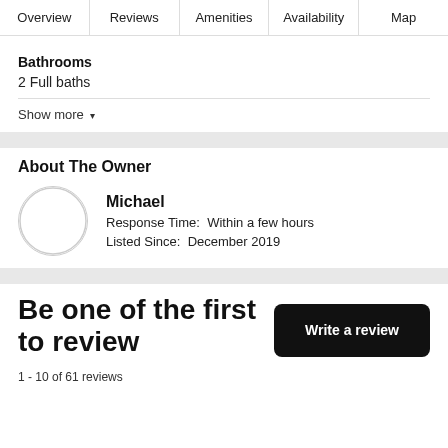Overview | Reviews | Amenities | Availability | Map
Bathrooms
2 Full baths
Show more ▾
About The Owner
Michael
Response Time: Within a few hours
Listed Since: December 2019
Be one of the first to review
Write a review
1 - 10 of 61 reviews